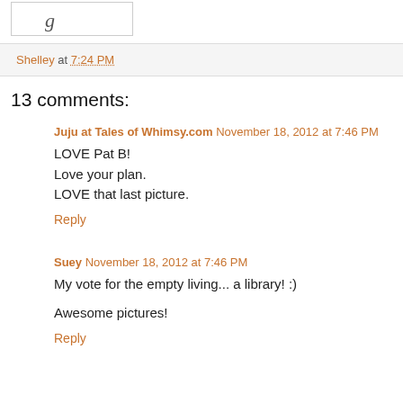[Figure (illustration): Partial view of a blog logo or signature image, white background with cursive text visible]
Shelley at 7:24 PM
13 comments:
Juju at Tales of Whimsy.com  November 18, 2012 at 7:46 PM
LOVE Pat B!
Love your plan.
LOVE that last picture.
Reply
Suey  November 18, 2012 at 7:46 PM
My vote for the empty living... a library! :)
Awesome pictures!
Reply